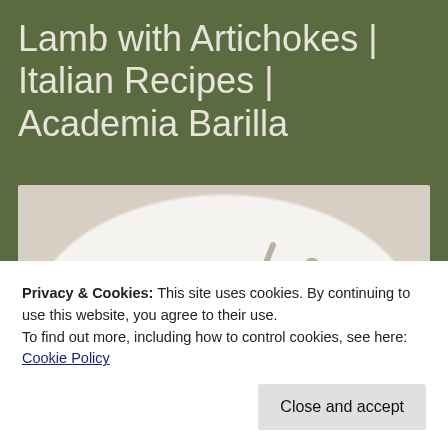Lamb with Artichokes | Italian Recipes | Academia Barilla
[Figure (photo): Plated rack of lamb chops with crossed bones on a white plate with sauce drizzles]
Privacy & Cookies: This site uses cookies. By continuing to use this website, you agree to their use.
To find out more, including how to control cookies, see here: Cookie Policy
Close and accept